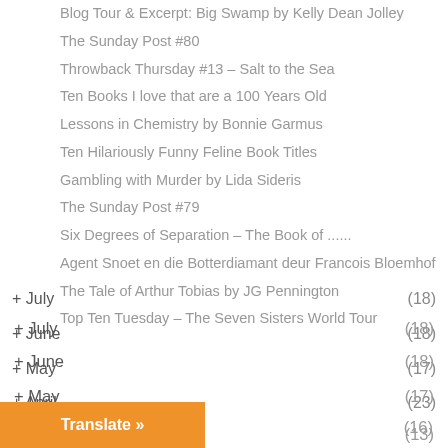Blog Tour & Excerpt: Big Swamp by Kelly Dean Jolley
The Sunday Post #80
Throwback Thursday #13 – Salt to the Sea
Ten Books I love that are a 100 Years Old
Lessons in Chemistry by Bonnie Garmus
Ten Hilariously Funny Feline Book Titles
Gambling with Murder by Lida Sideris
The Sunday Post #79
Six Degrees of Separation – The Book of ......
Agent Snoet en die Botterdiamant deur Francois Bloemhof
The Tale of Arthur Tobias by JG Pennington
Top Ten Tuesday – The Seven Sisters World Tour
+ July (18)
+ June (18)
+ May (17)
+ April (23)
+ March (16)
(13)
Translate »